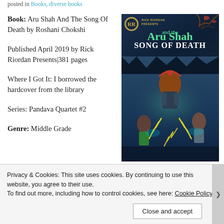posted in Books, diverse books
Book: Aru Shah And The Song Of Death by Roshani Chokshi
Published April 2019 by Rick Riordan Presents|381 pages
Where I Got It: I borrowed the hardcover from the library
Series: Pandava Quartet #2
Genre: Middle Grade
[Figure (illustration): Book cover of Aru Shah and the Song of Death, Rick Riordan Presents. Shows fantasy characters with lightning in a dark cave setting. Title in teal green letters.]
Privacy & Cookies: This site uses cookies. By continuing to use this website, you agree to their use.
To find out more, including how to control cookies, see here: Cookie Policy
Close and accept